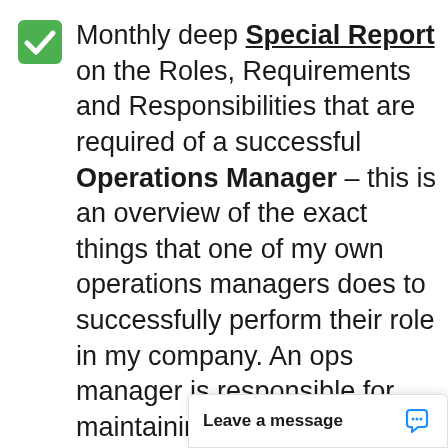Monthly deep Special Report on the Roles, Requirements and Responsibilities that are required of a successful Operations Manager – this is an overview of the exact things that one of my own operations managers does to successfully perform their role in my company. An ops manager is responsible for maintaining the culture, team development, performance management, score card conversations, recruitment and hiring (and so much more). You'll get monthly insights into how my mangers perform so you can develop and p… manager.